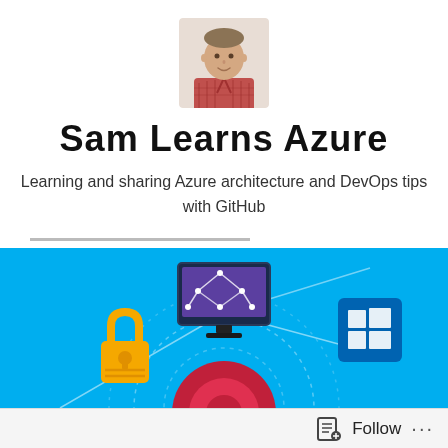[Figure (photo): Small square headshot of a man in a pink/red plaid shirt against a light background]
Sam Learns Azure
Learning and sharing Azure architecture and DevOps tips with GitHub
Menu
[Figure (illustration): Azure technology banner image on a blue background showing icons: a yellow padlock, a monitor with purple network graphic, a Windows logo tile, a circular diagram with dotted rings, and a red target/shield shape]
Follow ...